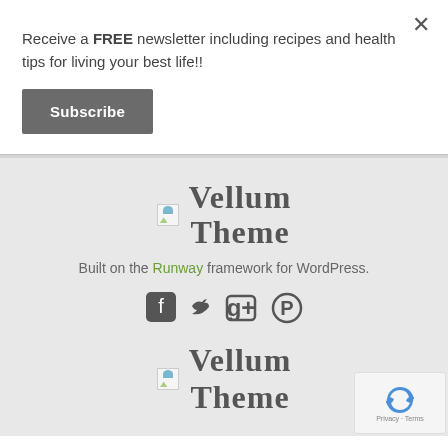Receive a FREE newsletter including recipes and health tips for living your best life!!
Subscribe
Vellum Theme
Built on the Runway framework for WordPress.
[Figure (other): Social media icons: Facebook, Twitter, Google+, Pinterest]
Vellum Theme
[Figure (other): reCAPTCHA widget with Privacy and Terms links]